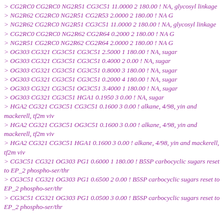> CG2RC0 CG2RC0 NG2R51 CG3C51 11.0000 2 180.00 ! NA, glycosyl linkage
> NG2R62 CG2RC0 NG2R51 CG2R53 2.0000 2 180.00 ! NA G
> NG2R62 CG2RC0 NG2R51 CG3C51 11.0000 2 180.00 ! NA, glycosyl linkage
> CG2RC0 CG2RC0 NG2R62 CG2R64 0.2000 2 180.00 ! NA G
> NG2R51 CG2RC0 NG2R62 CG2R64 2.0000 2 180.00 ! NA G
> OG303 CG321 CG3C51 CG3C51 2.5000 1 180.00 ! NA, sugar
> OG303 CG321 CG3C51 CG3C51 0.4000 2 0.00 ! NA, sugar
> OG303 CG321 CG3C51 CG3C51 0.8000 3 180.00 ! NA, sugar
> OG303 CG321 CG3C51 CG3C51 0.2000 4 180.00 ! NA, sugar
> OG303 CG321 CG3C51 OG3C51 3.4000 1 180.00 ! NA, sugar
> OG303 CG321 CG3C51 HGA1 0.1950 3 0.00 ! NA, sugar
> HGA2 CG321 CG3C51 CG3C51 0.1600 3 0.00 ! alkane, 4/98, yin and mackerell, tf2m viv
> HGA2 CG321 CG3C51 OG3C51 0.1600 3 0.00 ! alkane, 4/98, yin and mackerell, tf2m viv
> HGA2 CG321 CG3C51 HGA1 0.1600 3 0.00 ! alkane, 4/98, yin and mackerell, tf2m viv
> CG3C51 CG321 OG303 PG1 0.6000 1 180.00 ! B5SP carbocyclic sugars reset to EP_2 phospho-ser/thr
> CG3C51 CG321 OG303 PG1 0.6500 2 0.00 ! B5SP carbocyclic sugars reset to EP_2 phospho-ser/thr
> CG3C51 CG321 OG303 PG1 0.0500 3 0.00 ! B5SP carbocyclic sugars reset to EP_2 phospho-ser/thr